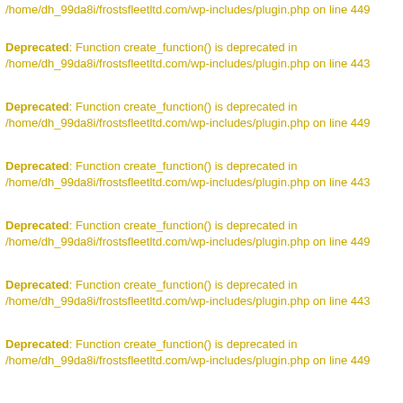/home/dh_99da8i/frostsfleetltd.com/wp-includes/plugin.php on line 449
Deprecated: Function create_function() is deprecated in /home/dh_99da8i/frostsfleetltd.com/wp-includes/plugin.php on line 443
Deprecated: Function create_function() is deprecated in /home/dh_99da8i/frostsfleetltd.com/wp-includes/plugin.php on line 449
Deprecated: Function create_function() is deprecated in /home/dh_99da8i/frostsfleetltd.com/wp-includes/plugin.php on line 443
Deprecated: Function create_function() is deprecated in /home/dh_99da8i/frostsfleetltd.com/wp-includes/plugin.php on line 449
Deprecated: Function create_function() is deprecated in /home/dh_99da8i/frostsfleetltd.com/wp-includes/plugin.php on line 443
Deprecated: Function create_function() is deprecated in /home/dh_99da8i/frostsfleetltd.com/wp-includes/plugin.php on line 449